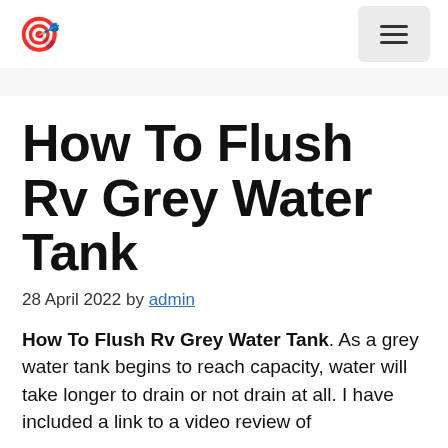🎯 [logo] | ≡ [menu button]
How To Flush Rv Grey Water Tank
28 April 2022 by admin
How To Flush Rv Grey Water Tank. As a grey water tank begins to reach capacity, water will take longer to drain or not drain at all. I have included a link to a video review of